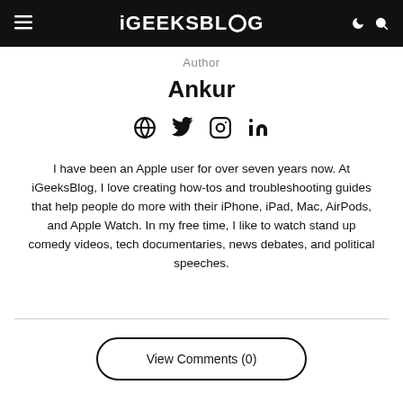iGEEKSBLOG
Author
Ankur
[Figure (other): Social media icons: globe, Twitter/X, Instagram, LinkedIn]
I have been an Apple user for over seven years now. At iGeeksBlog, I love creating how-tos and troubleshooting guides that help people do more with their iPhone, iPad, Mac, AirPods, and Apple Watch. In my free time, I like to watch stand up comedy videos, tech documentaries, news debates, and political speeches.
View Comments (0)